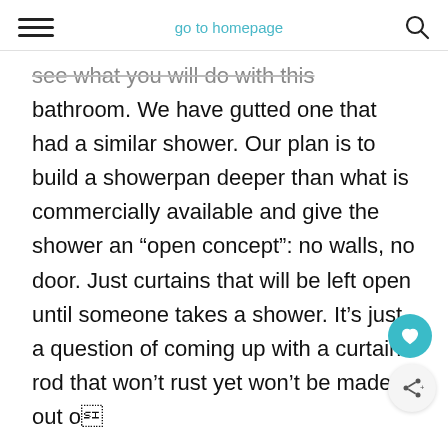go to homepage
see what you will do with this bathroom. We have gutted one that had a similar shower. Our plan is to build a showerpan deeper than what is commercially available and give the shower an “open concept”: no walls, no door. Just curtains that will be left open until someone takes a shower. It’s just a question of coming up with a curtain rod that won’t rust yet won’t be made out of plastic.